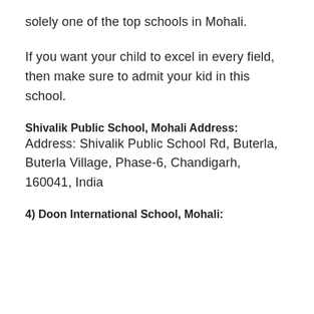solely one of the top schools in Mohali.
If you want your child to excel in every field, then make sure to admit your kid in this school.
Shivalik Public School, Mohali Address:
Address: Shivalik Public School Rd, Buterla, Buterla Village, Phase-6, Chandigarh, 160041, India
4) Doon International School, Mohali: